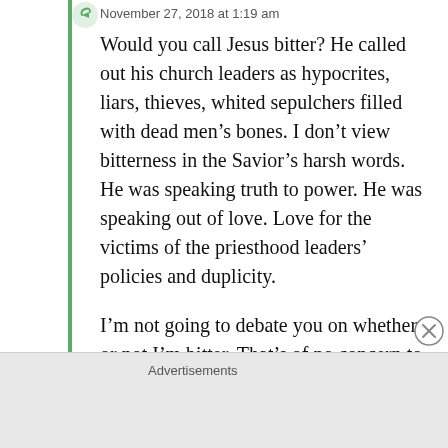November 27, 2018 at 1:19 am
Would you call Jesus bitter? He called out his church leaders as hypocrites, liars, thieves, whited sepulchers filled with dead men's bones. I don't view bitterness in the Savior's harsh words. He was speaking truth to power. He was speaking out of love. Love for the victims of the priesthood leaders' policies and duplicity.
I'm not going to debate you on whether or not I'm bitter. That's of no concern to me. My interest is in protecting children.
The stories are not anonymous. There is a name
Advertisements